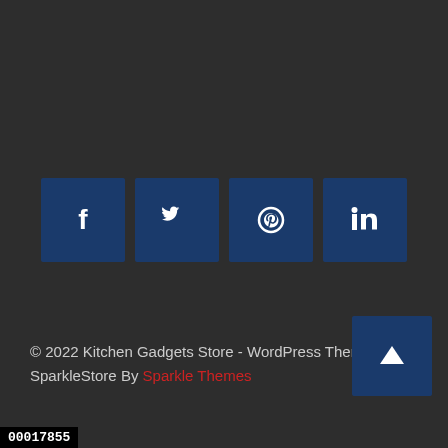[Figure (infographic): Four social media icon buttons (Facebook, Twitter, Pinterest, LinkedIn) displayed as dark blue square buttons with white icons, arranged horizontally.]
© 2022 Kitchen Gadgets Store - WordPress Theme SparkleStore By Sparkle Themes
00017855